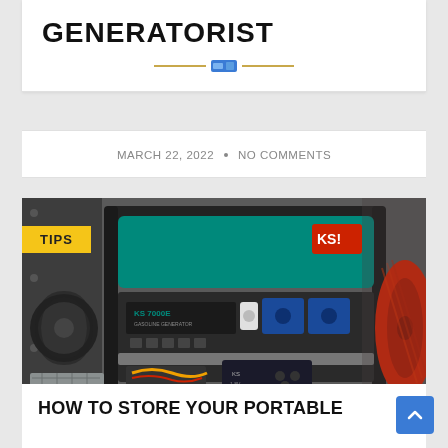GENERATORIST
MARCH 22, 2022  •  NO COMMENTS
[Figure (photo): A KS 7000E gasoline generator stored in a metal compartment, with a cable reel on the left, red fan on the right, blue outlets, and a battery below. A yellow TIPS badge overlays the top-left corner.]
HOW TO STORE YOUR PORTABLE